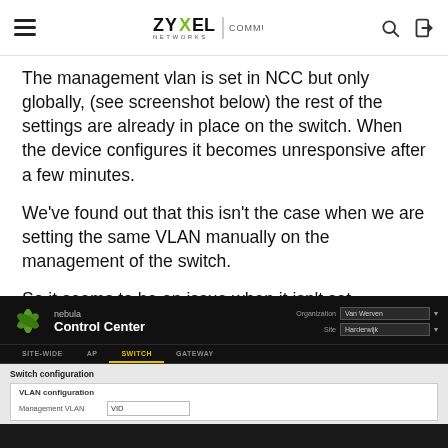ZYXEL NETWORKS | COMMUNITY
The management vlan is set in NCC but only globally, (see screenshot below) the rest of the settings are already in place on the switch. When the device configures it becomes unresponsive after a few minutes.
We've found out that this isn't the case when we are setting the same VLAN manually on the management of the switch.
So it seems to be an issue when it isn't set manually.
[Figure (screenshot): Screenshot of Zyxel Nebula Control Center showing Switch configuration > VLAN configuration section, with Organization set to 'Van Werven' and Site to 'Harderwijk'. Navigation tabs show SITE-WIDE, AP, SWITCH (active), GATEWAY.]